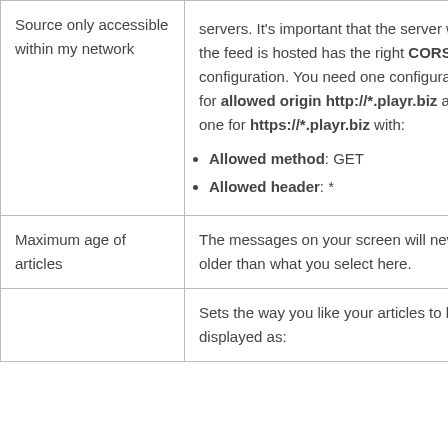| Source only accessible within my network | servers. It's important that the server where the feed is hosted has the right CORS configuration. You need one configuration for allowed origin http://*.playr.biz and one for https://*.playr.biz with:
• Allowed method: GET
• Allowed header: * |
| Maximum age of articles | The messages on your screen will never be older than what you select here. |
|  | Sets the way you like your articles to be displayed as: |